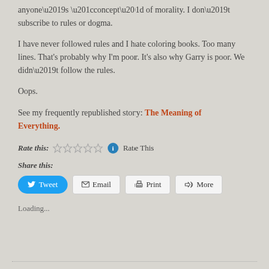anyone's “concept” of morality. I don’t subscribe to rules or dogma.
I have never followed rules and I hate coloring books. Too many lines. That's probably why I'm poor. It's also why Garry is poor. We didn’t follow the rules.
Oops.
See my frequently republished story: The Meaning of Everything.
Rate this: ☆☆☆☆☆ ⓘ Rate This
Share this:
Tweet   Email   Print   More
Loading...